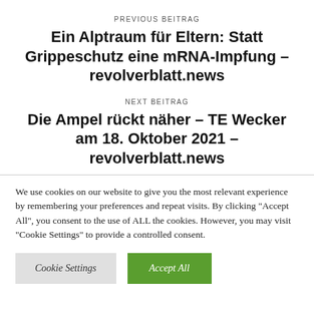PREVIOUS BEITRAG
Ein Alptraum für Eltern: Statt Grippeschutz eine mRNA-Impfung – revolverblatt.news
NEXT BEITRAG
Die Ampel rückt näher – TE Wecker am 18. Oktober 2021 – revolverblatt.news
We use cookies on our website to give you the most relevant experience by remembering your preferences and repeat visits. By clicking "Accept All", you consent to the use of ALL the cookies. However, you may visit "Cookie Settings" to provide a controlled consent.
Cookie Settings | Accept All